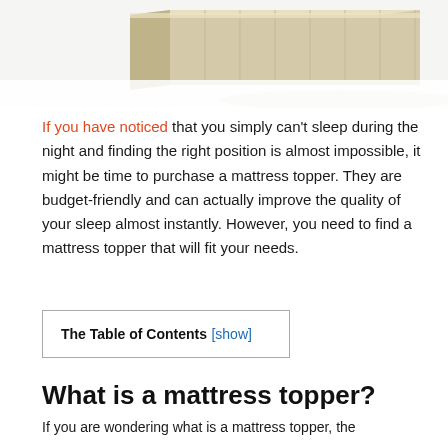[Figure (photo): Top portion of a mattress topper product shown at an angle, beige/cream colored layered foam, partially cropped at top of page]
If you have noticed that you simply can't sleep during the night and finding the right position is almost impossible, it might be time to purchase a mattress topper. They are budget-friendly and can actually improve the quality of your sleep almost instantly. However, you need to find a mattress topper that will fit your needs.
| The Table of Contents [show] |
What is a mattress topper?
If you are wondering what is a mattress topper, the